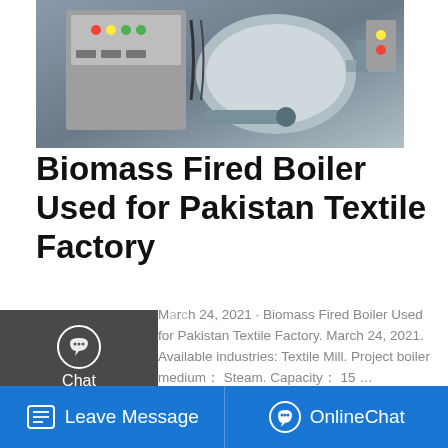[Figure (photo): Industrial boiler/machinery equipment with control panel and mechanical components]
Biomass Fired Boiler Used for Pakistan Textile Factory
March 24, 2021 · Biomass Fired Boiler Used for Pakistan Textile Factory. March 24, 2021. Available industries: Textile Mill. Project boiler medium：Steam. Capacity：15 …
[Figure (screenshot): Get a Quote button (gold/yellow)]
[Figure (screenshot): Sidebar overlay with Chat, Email, Contact icons]
[Figure (screenshot): Save Stickers on WhatsApp banner ad with icons]
[Figure (screenshot): Footer bar with Leave Message and OnlineChat buttons]